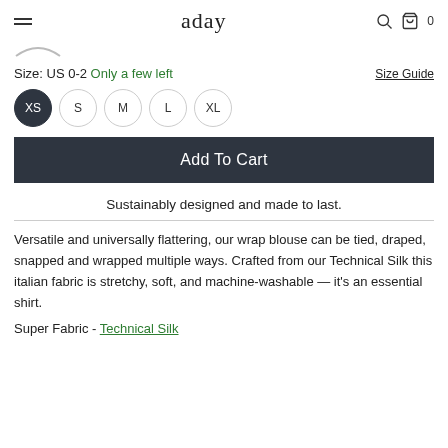aday
Size: US 0-2  Only a few left
Size Guide
XS  S  M  L  XL
Add To Cart
Sustainably designed and made to last.
Versatile and universally flattering, our wrap blouse can be tied, draped, snapped and wrapped multiple ways. Crafted from our Technical Silk this italian fabric is stretchy, soft, and machine-washable — it's an essential shirt.
Super Fabric - Technical Silk